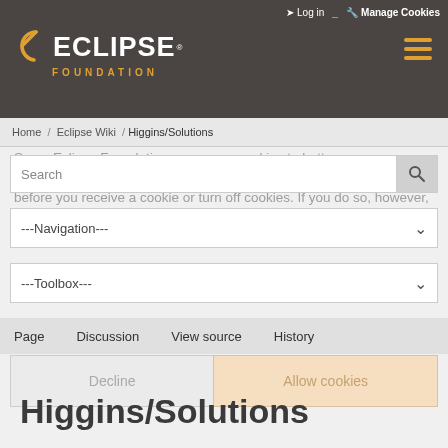Log in  Manage Cookies
[Figure (logo): Eclipse Foundation logo with arc symbol, white ECLIPSE text, orange FOUNDATION text below]
Home / Eclipse Wiki / Higgins/Solutions
Some Eclipse Foundation pages use cookies to better serve you when you return to the site. You can set your browser to notify you before you receive a cookie or turn off cookies. If you do so, however, some areas of some sites may not function properly. To read Eclipse Foundation Privacy Policy click here.
Search
---Navigation---
---Toolbox---
Page   Discussion   View source   History
Decline   Allow cookies
Higgins/Solutions